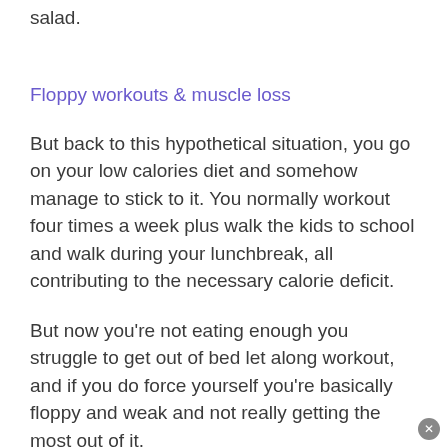salad.
Floppy workouts & muscle loss
But back to this hypothetical situation, you go on your low calories diet and somehow manage to stick to it. You normally workout four times a week plus walk the kids to school and walk during your lunchbreak, all contributing to the necessary calorie deficit.
But now you're not eating enough you struggle to get out of bed let along workout, and if you do force yourself you're basically floppy and weak and not really getting the most out of it.
All the excuses come out as to why you drive to school instead; it's raining